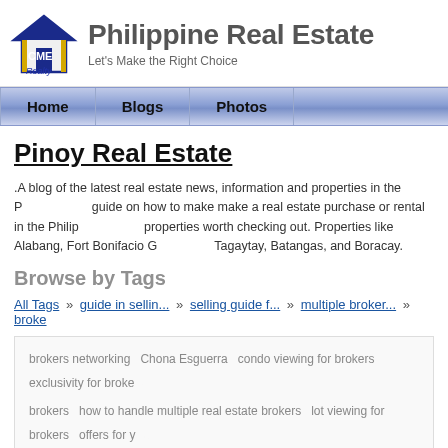[Figure (logo): CME Realty logo with house icon and text]
Philippine Real Estate
Let's Make the Right Choice
Home   Blogs   Photos
Pinoy Real Estate
.A blog of the latest real estate news, information and properties in the Philippines. A guide on how to make make a real estate purchase or rental in the Philippines. The best properties worth checking out. Properties like Alabang, Fort Bonifacio Global City, Tagaytay, Batangas, and Boracay.
Browse by Tags
All Tags » guide in sellin... » selling guide f... » multiple broker... » broke
brokers networking   Chona Esguerra   condo viewing for brokers   exclusivity for brokers

brokers   how to handle multiple real estate brokers   lot viewing for brokers   offers for y

brokers   seller's guide on property   seller's guide with brokers   selling property   sign